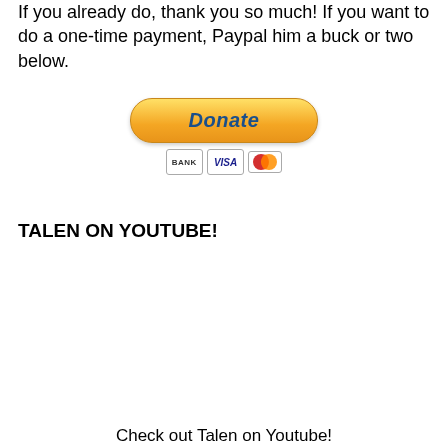If you already do, thank you so much! If you want to do a one-time payment, Paypal him a buck or two below.
[Figure (other): PayPal Donate button with payment icons (BANK, VISA, Mastercard)]
TALEN ON YOUTUBE!
Check out Talen on Youtube!